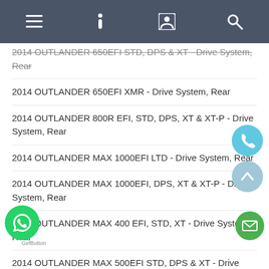Navigation bar with menu, info, profile, search icons
2014 OUTLANDER 650EFI STD, DPS & XT - Drive System, Rear
2014 OUTLANDER 650EFI XMR - Drive System, Rear
2014 OUTLANDER 800R EFI, STD, DPS, XT & XT-P - Drive System, Rear
2014 OUTLANDER MAX 1000EFI LTD - Drive System, Rear
2014 OUTLANDER MAX 1000EFI, DPS, XT & XT-P - Drive System, Rear
2014 OUTLANDER MAX 400 EFI, STD, XT - Drive System, Rear
2014 OUTLANDER MAX 500EFI STD, DPS & XT - Drive System, Rear
2014 OUTLANDER MAX 650EFI STD, DPS, X, XT- - Drive System, Rear
2014 OUTLANDER MAX 800R EFI, DPS, XT & XT-P - Drive System, Rear